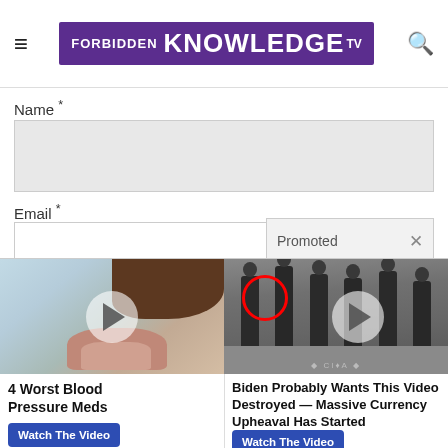FORBIDDEN KNOWLEDGE TV
Name *
Email *
Promoted ×
[Figure (photo): Woman with open mouth, video thumbnail for '4 Worst Blood Pressure Meds']
4 Worst Blood Pressure Meds
Watch The Video
[Figure (photo): Group of men in suits standing on CIA lobby floor, with red circle highlight on one person]
Biden Probably Wants This Video Destroyed — Massive Currency Upheaval Has Started
Watch The Video